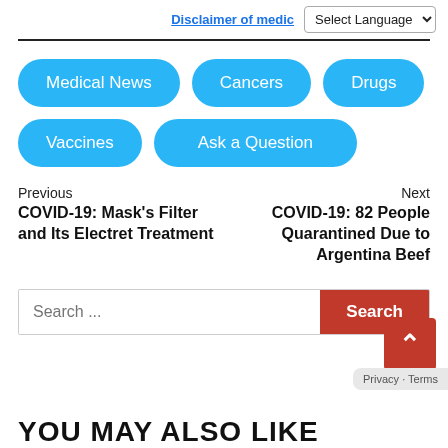Disclaimer of medic... | Select Language
Medical News
Cancers
Drugs
Vaccines
Ask a Question
Previous
COVID-19: Mask's Filter and Its Electret Treatment
Next
COVID-19: 82 People Quarantined Due to Argentina Beef
Search ...
YOU MAY ALSO LIKE